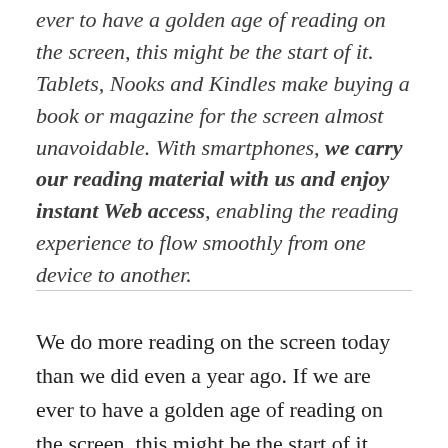ever to have a golden age of reading on the screen, this might be the start of it. Tablets, Nooks and Kindles make buying a book or magazine for the screen almost unavoidable. With smartphones, we carry our reading material with us and enjoy instant Web access, enabling the reading experience to flow smoothly from one device to another.
We do more reading on the screen today than we did even a year ago. If we are ever to have a golden age of reading on the screen, this might be the start of it.